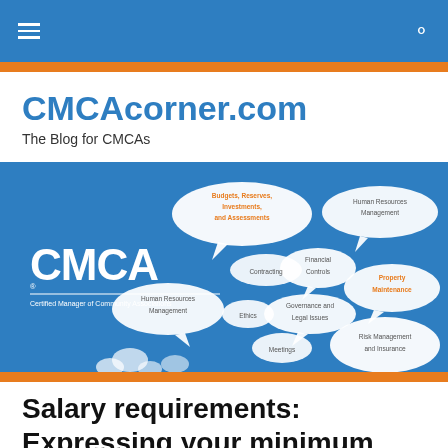CMCAcorner.com navigation bar
CMCAcorner.com
The Blog for CMCAs
[Figure (illustration): CMCA banner image on blue background showing speech bubbles with topics: Budgets, Reserves, Investments and Assessments; Human Resources Management; Financial Controls; Contracting; Property Maintenance; Human Resources Management; Ethics; Governance and Legal Issues; Meetings; Risk Management and Insurance. CMCA logo and 'Certified Manager of Community Associations' text on left.]
Salary requirements: Expressing your minimum salary requirement